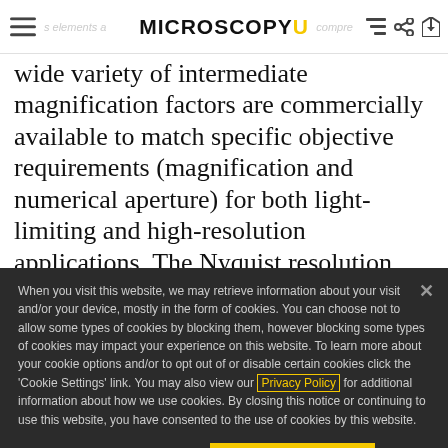MicroscopyU
wide variety of intermediate magnification factors are commercially available to match specific objective requirements (magnification and numerical aperture) for both light-limiting and high-resolution applications. The Nyquist resolution criterion should be stringently considered when
When you visit this website, we may retrieve information about your visit and/or your device, mostly in the form of cookies. You can choose not to allow some types of cookies by blocking them, however blocking some types of cookies may impact your experience on this website. To learn more about your cookie options and/or to opt out of or disable certain cookies click the 'Cookie Settings' link. You may also view our Privacy Policy for additional information about how we use cookies. By closing this notice or continuing to use this website, you have consented to the use of cookies by this website.